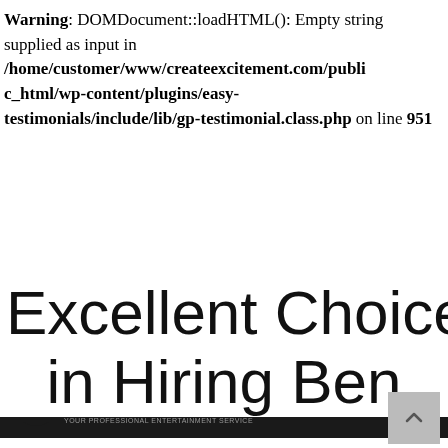Warning: DOMDocument::loadHTML(): Empty string supplied as input in /home/customer/www/createexcitement.com/public_html/wp-content/plugins/easy-testimonials/include/lib/gp-testimonial.class.php on line 951
[Figure (screenshot): Navigation bar for createexcitement.com website with dark background, CE logo on left, hamburger menu icon on right]
Excellent Choice in Hiring Ben